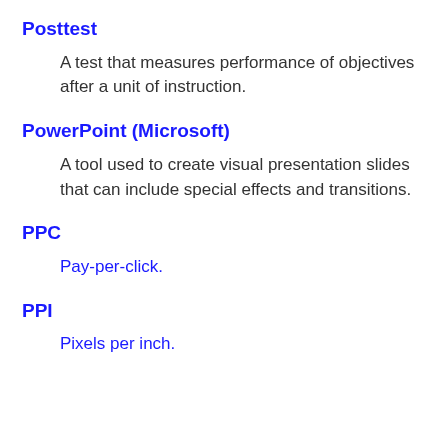Posttest
A test that measures performance of objectives after a unit of instruction.
PowerPoint (Microsoft)
A tool used to create visual presentation slides that can include special effects and transitions.
PPC
Pay-per-click.
PPI
Pixels per inch.